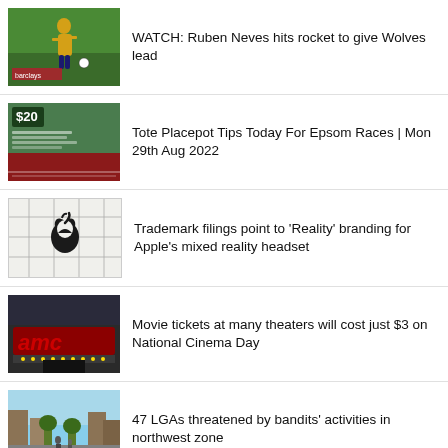[Figure (photo): Soccer player in yellow kit kicking ball on green pitch]
WATCH: Ruben Neves hits rocket to give Wolves lead
[Figure (photo): Horse racing betting tip image with $20 text overlay]
Tote Placepot Tips Today For Epsom Races | Mon 29th Aug 2022
[Figure (photo): Apple logo on wireframe/sketch background]
Trademark filings point to 'Reality' branding for Apple's mixed reality headset
[Figure (photo): AMC movie theater exterior with red neon sign]
Movie tickets at many theaters will cost just $3 on National Cinema Day
[Figure (photo): Street scene in northwest zone]
47 LGAs threatened by bandits' activities in northwest zone